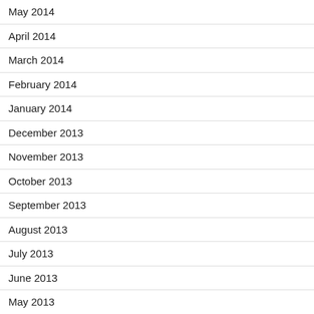May 2014
April 2014
March 2014
February 2014
January 2014
December 2013
November 2013
October 2013
September 2013
August 2013
July 2013
June 2013
May 2013
April 2013
March 2013
February 2013